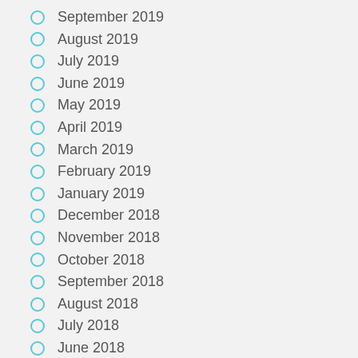September 2019
August 2019
July 2019
June 2019
May 2019
April 2019
March 2019
February 2019
January 2019
December 2018
November 2018
October 2018
September 2018
August 2018
July 2018
June 2018
May 2018
April 2018
March 2018
February 2018